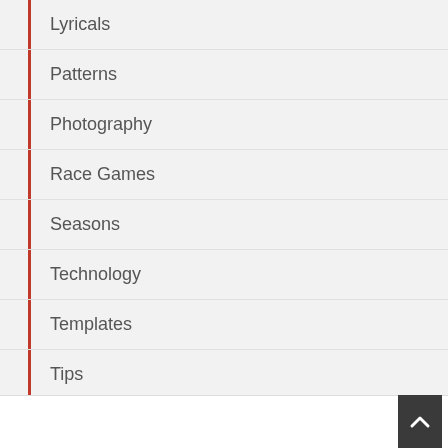Lyricals
Patterns
Photography
Race Games
Seasons
Technology
Templates
Tips
Uncategorized
Updates
Recent Posts